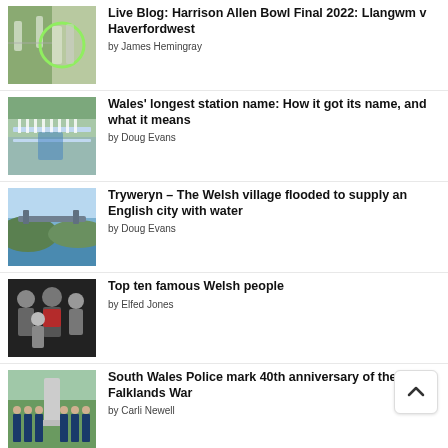Live Blog: Harrison Allen Bowl Final 2022: Llangwm v Haverfordwest by James Hemingray
Wales' longest station name: How it got its name, and what it means by Doug Evans
Tryweryn – The Welsh village flooded to supply an English city with water by Doug Evans
Top ten famous Welsh people by Elfed Jones
South Wales Police mark 40th anniversary of the Falklands War by Carli Newell
The lost land of Cantre'r Gwaelod: The